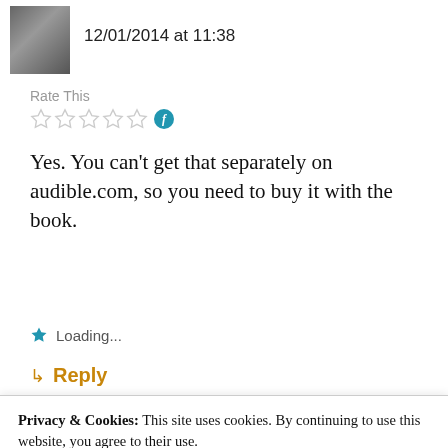12/01/2014 at 11:38
Rate This
Yes. You can't get that separately on audible.com, so you need to buy it with the book.
Loading...
↳ Reply
Advertisements
[Figure (other): Colorful advertisement banner with purple, teal, and orange sections]
Privacy & Cookies: This site uses cookies. By continuing to use this website, you agree to their use.
To find out more, including how to control cookies, see here: Our Cookie Policy
Close and accept